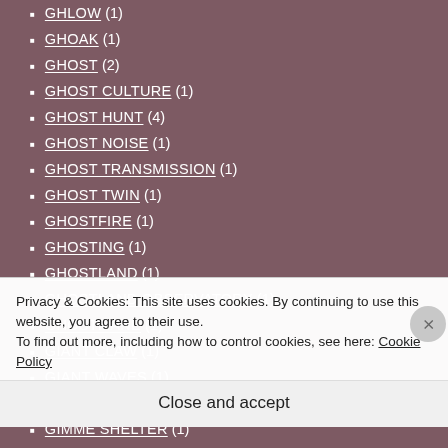GHLOW (1)
GHOAK (1)
GHOST (2)
GHOST CULTURE (1)
GHOST HUNT (4)
GHOST NOISE (1)
GHOST TRANSMISSION (1)
GHOST TWIN (1)
GHOSTFIRE (1)
GHOSTING (1)
GHOSTLAND (1)
GHOSTLAND OBSERVATORY (1)
GHOSTMANE (1)
GIANT CLAW (1)
GIANT WAVES (1)
GILBERT COHEN (1)
Privacy & Cookies: This site uses cookies. By continuing to use this website, you agree to their use. To find out more, including how to control cookies, see here: Cookie Policy
Close and accept